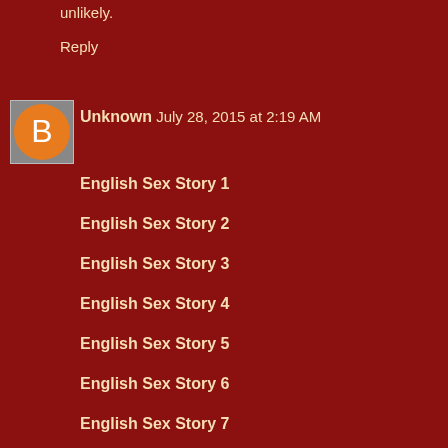unlikely.
Reply
Unknown July 28, 2015 at 2:19 AM
English Sex Story 1
English Sex Story 2
English Sex Story 3
English Sex Story 4
English Sex Story 5
English Sex Story 6
English Sex Story 7
English Sex Story 8